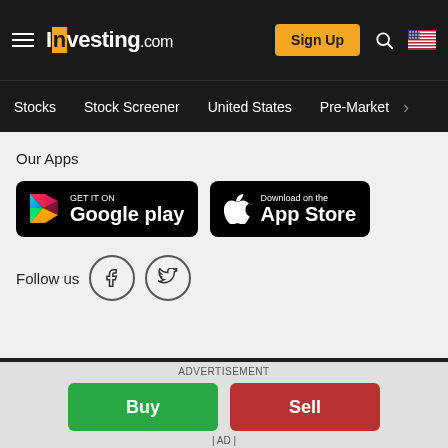Investing.com — Sign Up | Stocks | Stock Screener | United States | Pre-Market
Our Apps
[Figure (screenshot): Google Play and Apple App Store download buttons on black rounded backgrounds]
Follow us — Facebook and Twitter social icons
Terms And Conditions   Privacy Policy   Risk Warning
Risk Disclosure: Trading in financial instruments and/or cryptocurrencies involves high risks including the risk of losing some, or all, of your investment amount, and may not be suitable for all investors. Prices of cryptocurrencies
[Figure (other): Advertisement bar with Buy and Sell buttons and AD label]